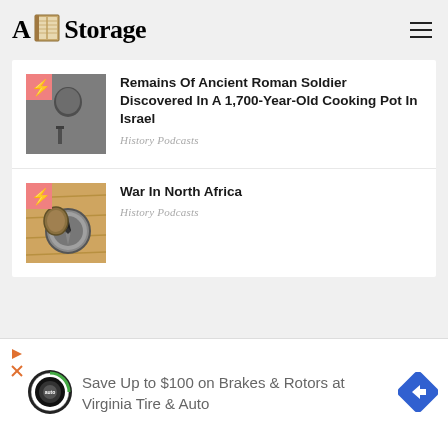A⊞Storage
[Figure (screenshot): Thumbnail image of ancient Roman artifact in black and white with pink corner badge and lightning icon]
Remains Of Ancient Roman Soldier Discovered In A 1,700-Year-Old Cooking Pot In Israel
History Podcasts
[Figure (screenshot): Thumbnail image of a compass/canteen artifact on wood surface with pink corner badge and lightning icon]
War In North Africa
History Podcasts
Save Up to $100 on Brakes & Rotors at Virginia Tire & Auto